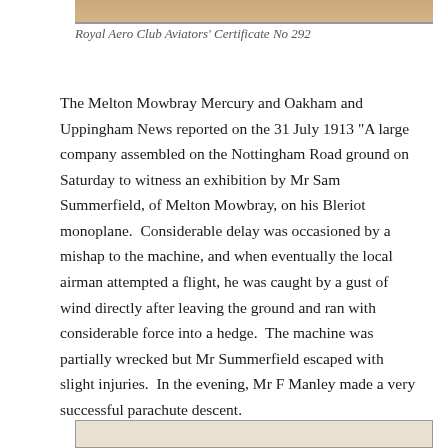[Figure (photo): Bottom edge of a photograph, partially cropped at top of page]
Royal Aero Club Aviators' Certificate No 292
The Melton Mowbray Mercury and Oakham and Uppingham News reported on the 31 July 1913 “A large company assembled on the Nottingham Road ground on Saturday to witness an exhibition by Mr Sam Summerfield, of Melton Mowbray, on his Bleriot monoplane. Considerable delay was occasioned by a mishap to the machine, and when eventually the local airman attempted a flight, he was caught by a gust of wind directly after leaving the ground and ran with considerable force into a hedge. The machine was partially wrecked but Mr Summerfield escaped with slight injuries. In the evening, Mr F Manley made a very successful parachute descent.
[Figure (photo): Top edge of a photograph or document, partially visible at bottom of page]